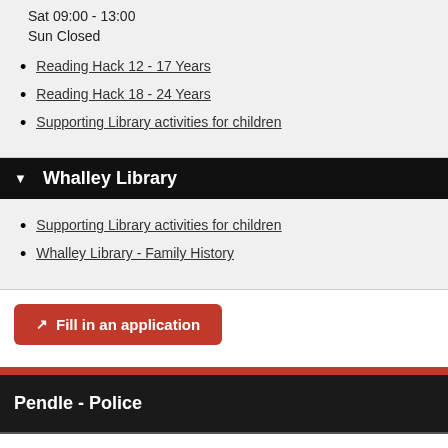Sat 09:00 - 13:00
Sun Closed
Reading Hack 12 - 17 Years
Reading Hack 18 - 24 Years
Supporting Library activities for children
Whalley Library
Supporting Library activities for children
Whalley Library - Family History
Fill in an application
Pendle - Police